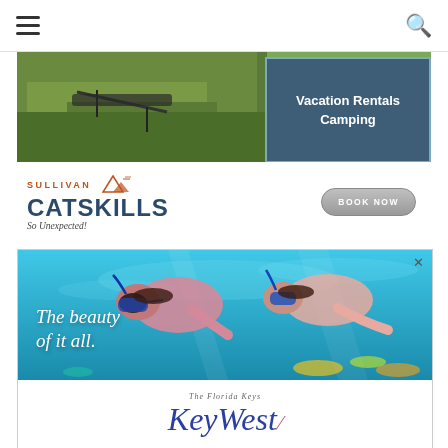Navigation header with hamburger menu and search icon
[Figure (illustration): Sullivan Catskills advertisement with outdoor/grass photo background, teal box reading 'Vacation Rentals Camping', Sullivan Catskills logo with mountain graphic, tagline 'So Unexpected!', and 'BOOK NOW' button]
[Figure (photo): Florida Keys Key West advertisement with underwater snorkeling photo, white italic text 'The beauty of it all.', and Florida Keys Key West logo with decorative squiggle]